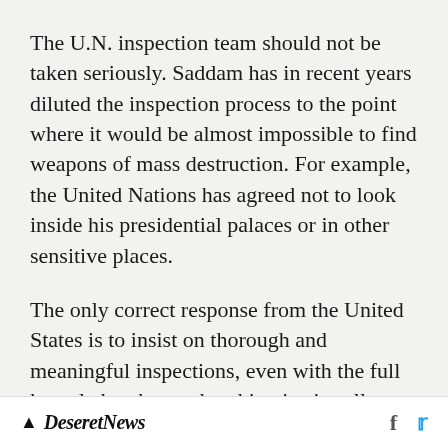The U.N. inspection team should not be taken seriously. Saddam has in recent years diluted the inspection process to the point where it would be almost impossible to find weapons of mass destruction. For example, the United Nations has agreed not to look inside his presidential palaces or in other sensitive places.
The only correct response from the United States is to insist on thorough and meaningful inspections, even with the full knowledge that such a thing is virtually impossible. Al Gore and George W. Bush, meanwhile, ought to be made to
Deseret News